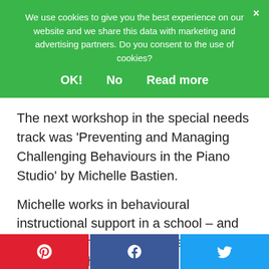We use cookies to give you the best experience on our website and we share this data with marketing and advertising partners. Do you consent to the use of cookies?
OK!   No   Read more
The next workshop in the special needs track was 'Preventing and Managing Challenging Behaviours in the Piano Studio' by Michelle Bastien.
Michelle works in behavioural instructional support in a school – and happens to have a piano teacher as a sister – so she did an
[Figure (infographic): Social share buttons row: Pinterest (red), Facebook (blue), Twitter (light blue)]